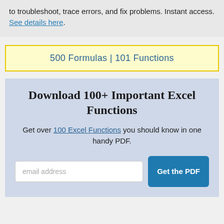to troubleshoot, trace errors, and fix problems. Instant access. See details here.
500 Formulas | 101 Functions
Download 100+ Important Excel Functions
Get over 100 Excel Functions you should know in one handy PDF.
email address | Get the PDF